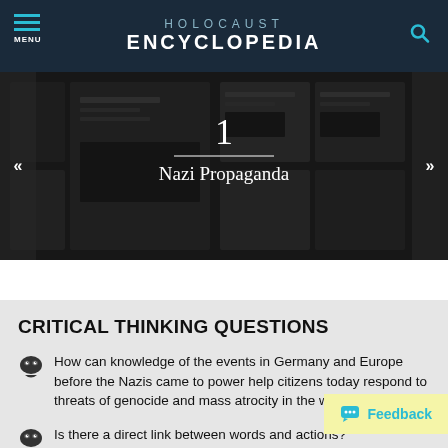HOLOCAUST ENCYCLOPEDIA
[Figure (photo): Black and white photograph of Nazi propaganda newspapers/posters displayed, with number 1 and title 'Nazi Propaganda' overlaid]
1
Nazi Propaganda
CRITICAL THINKING QUESTIONS
How can knowledge of the events in Germany and Europe before the Nazis came to power help citizens today respond to threats of genocide and mass atrocity in the world?
Is there a direct link between words and actions?